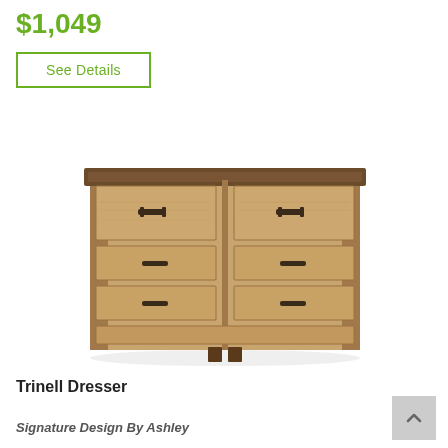$1,049
See Details
[Figure (photo): Trinell Dresser - a wooden dresser with 8 drawers, rustic brown finish, dark metal handles, and dark top.]
Trinell Dresser
Signature Design By Ashley